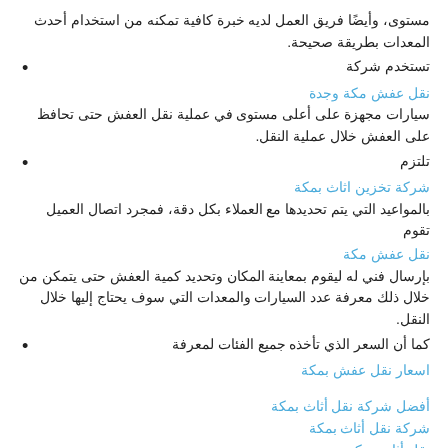مستوى، وأيضًا فريق العمل لديه خبرة كافية تمكنه من استخدام أحدث المعدات بطريقة صحيحة.
• تستخدم شركة نقل عفش مكة وجدة سيارات مجهزة على أعلى مستوى في عملية نقل العفش حتى تحافظ على العفش خلال عملية النقل.
• تلتزم شركة تخزين اثاث بمكة بالمواعيد التي يتم تحديدها مع العملاء بكل دقة، فمجرد اتصال العميل تقوم نقل عفش مكة بإرسال فني له ليقوم بمعاينة المكان وتحديد كمية العفش حتى يتمكن من خلال ذلك معرفة عدد السيارات والمعدات التي سوف يحتاج إليها خلال النقل.
• كما أن السعر الذي تأخذه جميع الفئات لمعرفة اسعار نقل عفش بمكة
أفضل شركة نقل أثاث بمكة
شركة نقل أثاث بمكة
نقل أثاث بمكة
شركة نقل عفش مكة رخيص
شركة تخزين اثاث بمكة